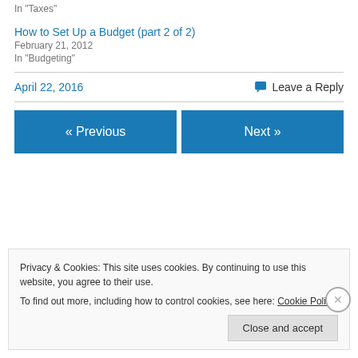In "Taxes"
How to Set Up a Budget (part 2 of 2)
February 21, 2012
In "Budgeting"
April 22, 2016
Leave a Reply
« Previous
Next »
Privacy & Cookies: This site uses cookies. By continuing to use this website, you agree to their use.
To find out more, including how to control cookies, see here: Cookie Policy
Close and accept